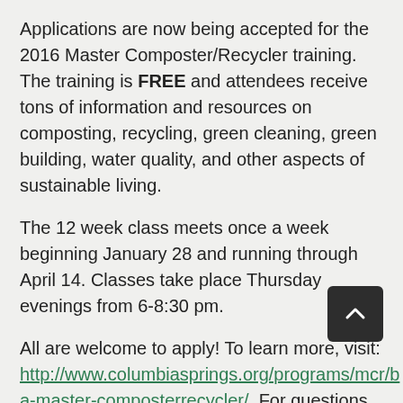Applications are now being accepted for the 2016 Master Composter/Recycler training. The training is FREE and attendees receive tons of information and resources on composting, recycling, green cleaning, green building, water quality, and other aspects of sustainable living.
The 12 week class meets once a week beginning January 28 and running through April 14. Classes take place Thursday evenings from 6-8:30 pm.
All are welcome to apply! To learn more, visit: http://www.columbiasprings.org/programs/mcr/be-a-master-composterrecycler/. For questions contact Erik Horngren (MCR program coordinator) at 360-882-0936.